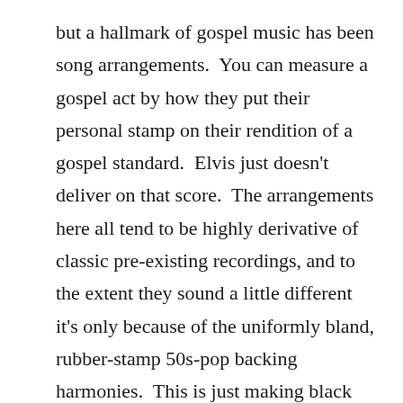but a hallmark of gospel music has been song arrangements.  You can measure a gospel act by how they put their personal stamp on their rendition of a gospel standard.  Elvis just doesn't deliver on that score.  The arrangements here all tend to be highly derivative of classic pre-existing recordings, and to the extent they sound a little different it's only because of the uniformly bland, rubber-stamp 50s-pop backing harmonies.  This is just making black music more palatable to white audiences, and that holds little interest more than fifty years later.  From another, kinder perspective you could say Elvis knew how to pick good songs, but in his performances he's too deferential here to the artists whose versions of the songs inspired him.  Either way this album is self-indulgent and stupid.  Elvis' two later gospel albums How Great Thou Art (1967) and He Touched Me